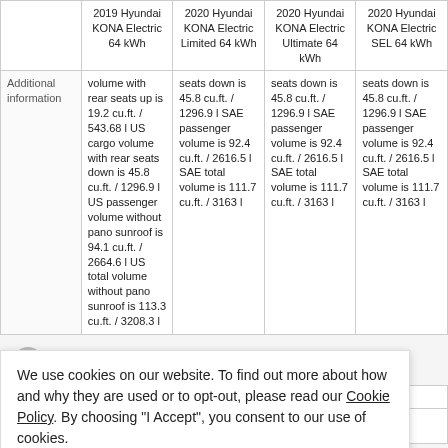|  | 2019 Hyundai KONA Electric 64 kWh | 2020 Hyundai KONA Electric Limited 64 kWh | 2020 Hyundai KONA Electric Ultimate 64 kWh | 2020 Hyundai KONA Electric SEL 64 kWh |
| --- | --- | --- | --- | --- |
| Additional information | volume with rear seats up is 19.2 cu.ft. / 543.68 l US cargo volume with rear seats down is 45.8 cu.ft. / 1296.9 l US passenger volume without pano sunroof is 94.1 cu.ft. / 2664.6 l US total volume without pano sunroof is 113.3 cu.ft. / 3208.3 l | seats down is 45.8 cu.ft. / 1296.9 l SAE passenger volume is 92.4 cu.ft. / 2616.5 l SAE total volume is 111.7 cu.ft. / 3163 l | seats down is 45.8 cu.ft. / 1296.9 l SAE passenger volume is 92.4 cu.ft. / 2616.5 l SAE total volume is 111.7 cu.ft. / 3163 l | seats down is 45.8 cu.ft. / 1296.9 l SAE passenger volume is 92.4 cu.ft. / 2616.5 l SAE total volume is 111.7 cu.ft. / 3163 l |
Electric motor
|  | performance | Siemens |
| --- | --- | --- |
|  | nt | Permanent magnet synchronous |
We use cookies on our website. To find out more about how and why they are used or to opt-out, please read our Cookie Policy. By choosing "I Accept", you consent to our use of cookies.